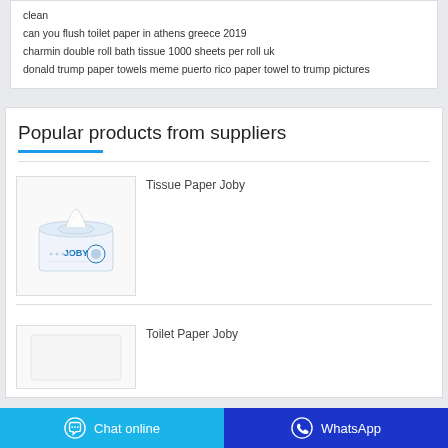clean
can you flush toilet paper in athens greece 2019
charmin double roll bath tissue 1000 sheets per roll uk
donald trump paper towels meme puerto rico paper towel to trump pictures
Popular products from suppliers
Tissue Paper Joby
[Figure (photo): JOBY brand tissue paper box, white box with blue branding, tissues visible at top]
Toilet Paper Joby
[Figure (photo): Toilet Paper Joby product image, partially visible]
Chat online
WhatsApp